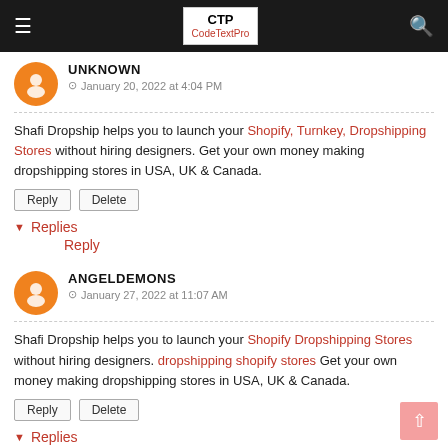CTP CodeTextPro
UNKNOWN
January 20, 2022 at 4:04 PM
Shafi Dropship helps you to launch your Shopify, Turnkey, Dropshipping Stores without hiring designers. Get your own money making dropshipping stores in USA, UK & Canada.
Reply | Delete
▼ Replies
Reply
ANGELDEMONS
January 27, 2022 at 11:07 AM
Shafi Dropship helps you to launch your Shopify Dropshipping Stores without hiring designers. dropshipping shopify stores Get your own money making dropshipping stores in USA, UK & Canada.
Reply | Delete
▼ Replies
Reply